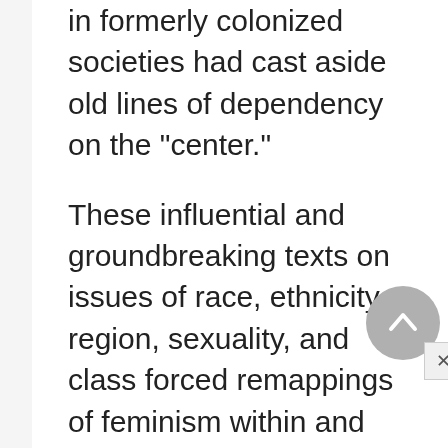in formerly colonized societies had cast aside old lines of dependency on the "center."
These influential and groundbreaking texts on issues of race, ethnicity, region, sexuality, and class forced remappings of feminism within and beyond the United States. Henceforth, histories of women were more consciously inclusive, emphasizing multiculturalism and incorporating the experiences of African-American, Latin-American, Asian-American, and